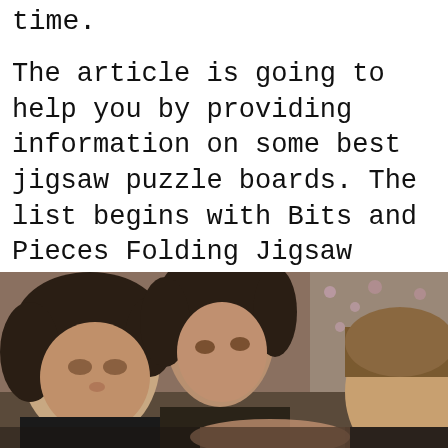time.
The article is going to help you by providing information on some best jigsaw puzzle boards. The list begins with Bits and Pieces Folding Jigsaw Puzzle Table, which allows you to fold down after use. You would like the section where I have discussed the factors you need to consider before selecting. So stay with me, buddy.
[Figure (photo): Two young men with dark hair working together, looking downward, possibly doing a jigsaw puzzle. Indoor setting with floral wallpaper and a lamp visible in the background.]